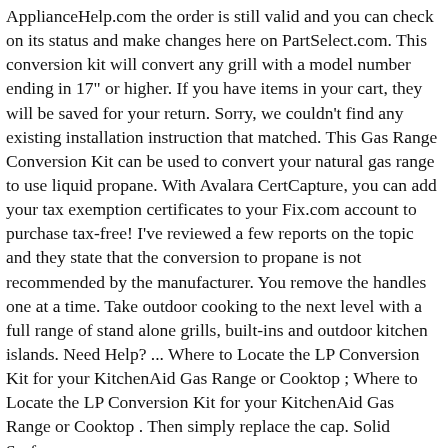ApplianceHelp.com the order is still valid and you can check on its status and make changes here on PartSelect.com. This conversion kit will convert any grill with a model number ending in 17" or higher. If you have items in your cart, they will be saved for your return. Sorry, we couldn't find any existing installation instruction that matched. This Gas Range Conversion Kit can be used to convert your natural gas range to use liquid propane. With Avalara CertCapture, you can add your tax exemption certificates to your Fix.com account to purchase tax-free! I've reviewed a few reports on the topic and they state that the conversion to propane is not recommended by the manufacturer. You remove the handles one at a time. Take outdoor cooking to the next level with a full range of stand alone grills, built-ins and outdoor kitchen islands. Need Help? ... Where to Locate the LP Conversion Kit for your KitchenAid Gas Range or Cooktop ; Where to Locate the LP Conversion Kit for your KitchenAid Gas Range or Cooktop . Then simply replace the cap. Solid Surface